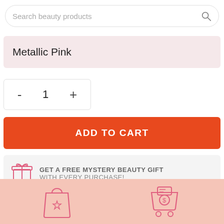[Figure (screenshot): Search bar with placeholder text 'Search beauty products' and a search icon on the right]
Metallic Pink
[Figure (other): Quantity selector with minus button, value 1, and plus button]
ADD TO CART
GET A FREE MYSTERY BEAUTY GIFT WITH EVERY PURCHASE!
[Figure (illustration): Pink bottom section with two outline icons: a shopping bag with a gift icon on the left, and a cart with a dollar coin on the right]